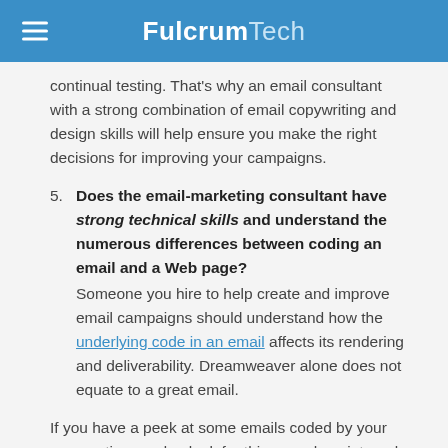FulcrumTech
continual testing. That's why an email consultant with a strong combination of email copywriting and design skills will help ensure you make the right decisions for improving your campaigns.
5. Does the email-marketing consultant have strong technical skills and understand the numerous differences between coding an email and a Web page? Someone you hire to help create and improve email campaigns should understand how the underlying code in an email affects its rendering and deliverability. Dreamweaver alone does not equate to a great email.
If you have a peek at some emails coded by your prospective vendor, look for things such as internal style sheets at the top—a no-no in email, yet I see them all the time. Also, can your consultant speak to the variations in rendering across a multitude of email clients? An email-marketing consultant should be able to demonstrate the knowledge and skills to ensure consistent, or at least appropriate, rendering across all email clients.